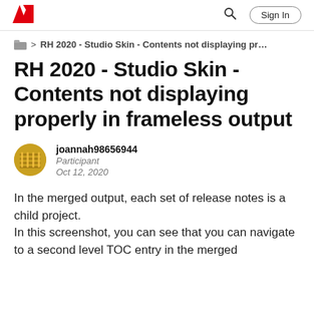Adobe | Sign In
> RH 2020 - Studio Skin - Contents not displaying pr…
RH 2020 - Studio Skin - Contents not displaying properly in frameless output
joannah98656944
Participant
Oct 12, 2020
In the merged output, each set of release notes is a child project.
In this screenshot, you can see that you can navigate to a second level TOC entry in the merged